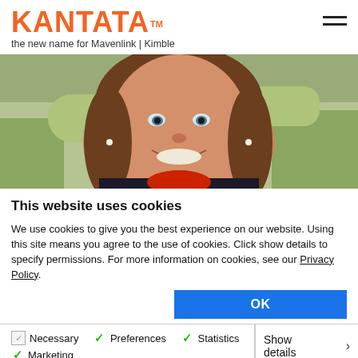KANTATA™ the new name for Mavenlink | Kimble
[Figure (photo): Close-up portrait of a smiling woman with brown hair, wearing a red and black top, outdoors with blurred green background.]
This website uses cookies
We use cookies to give you the best experience on our website. Using this site means you agree to the use of cookies. Click show details to specify permissions. For more information on cookies, see our Privacy Policy.
OK
Necessary  Preferences  Statistics  Marketing  Show details